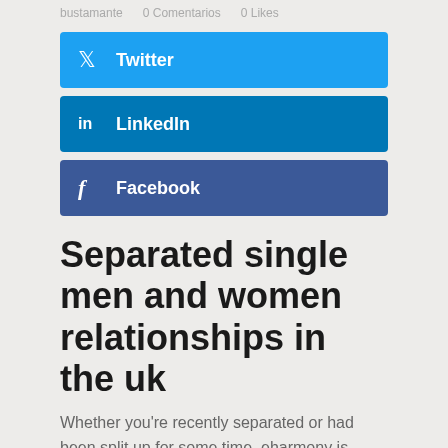bustamante   0 Comentarios   0 Likes
[Figure (screenshot): Twitter social share button (blue)]
[Figure (screenshot): LinkedIn social share button (dark blue)]
[Figure (screenshot): Facebook social share button (navy blue)]
Separated single men and women relationships in the uk
Whether you're recently separated or had been split up for some time, eharmony is